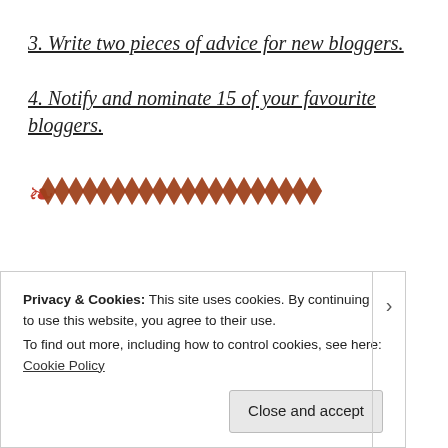3. Write two pieces of advice for new bloggers.
4. Notify and nominate 15 of your favourite bloggers.
[Figure (illustration): A row of decorative red and brown diamond/chevron emoji symbols used as a divider.]
Privacy & Cookies: This site uses cookies. By continuing to use this website, you agree to their use.
To find out more, including how to control cookies, see here: Cookie Policy
Close and accept